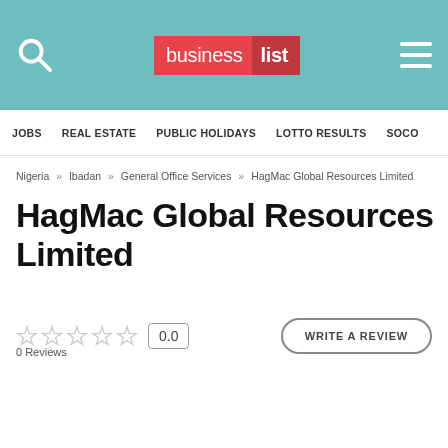[Figure (logo): Business List logo in teal header bar with search icon and hamburger menu]
JOBS   REAL ESTATE   PUBLIC HOLIDAYS   LOTTO RESULTS   SOCO
Nigeria » Ibadan » General Office Services » HagMac Global Resources Limited
HagMac Global Resources Limited
0 Reviews  0.0  WRITE A REVIEW